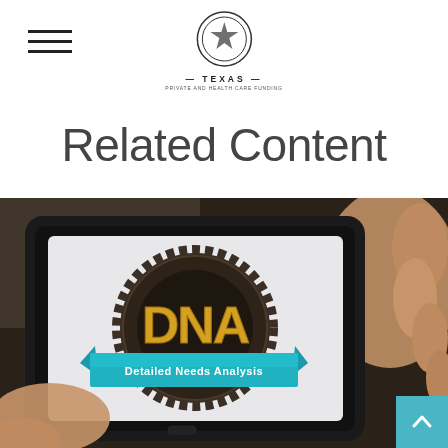Texas Private and Health Care Funding — Navigation and Logo
Related Content
[Figure (photo): A person holding a tablet displaying the DNA (Detailed Needs Analysis) logo — a badge design with golden DNA letters on a dark gear/cog background with a teal ribbon banner reading 'Detailed Needs Analysis']
[Figure (other): Teal back-to-top button with upward chevron arrow in the bottom-right corner]